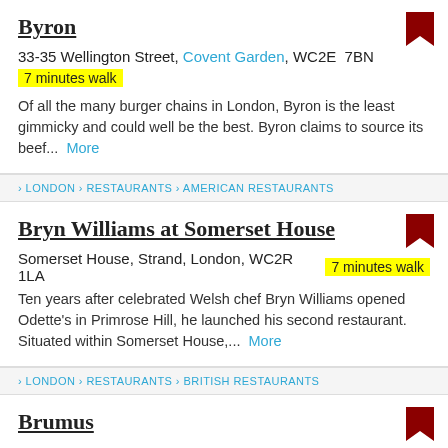Byron
33-35 Wellington Street, Covent Garden, WC2E  7BN
7 minutes walk
Of all the many burger chains in London, Byron is the least gimmicky and could well be the best. Byron claims to source its beef...  More
> LONDON > RESTAURANTS > AMERICAN RESTAURANTS
Bryn Williams at Somerset House
Somerset House, Strand, London, WC2R  1LA  7 minutes walk
Ten years after celebrated Welsh chef Bryn Williams opened Odette's in Primrose Hill, he launched his second restaurant. Situated within Somerset House,...  More
> LONDON > RESTAURANTS > BRITISH RESTAURANTS
Brumus